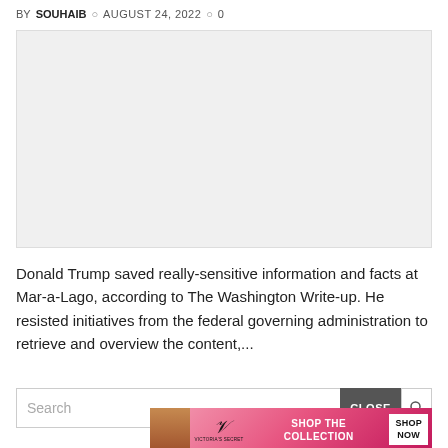BY SOUHAIB  © AUGUST 24, 2022  ◯ 0
[Figure (photo): Large light gray image placeholder rectangle]
Donald Trump saved really-sensitive information and facts at Mar-a-Lago, according to The Washington Write-up. He resisted initiatives from the federal governing administration to retrieve and overview the content,...
[Figure (screenshot): Search bar with CLOSE button and Victoria's Secret advertisement banner showing a woman, VS logo, SHOP THE COLLECTION text, and SHOP NOW button]